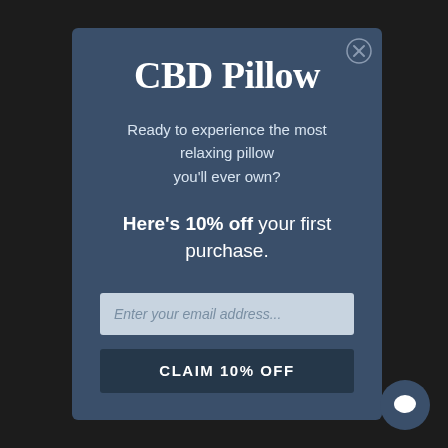[Figure (logo): CBD Pillow logo in large serif white text]
Ready to experience the most relaxing pillow you'll ever own?
Here's 10% off your first purchase.
Enter your email address...
CLAIM 10% OFF